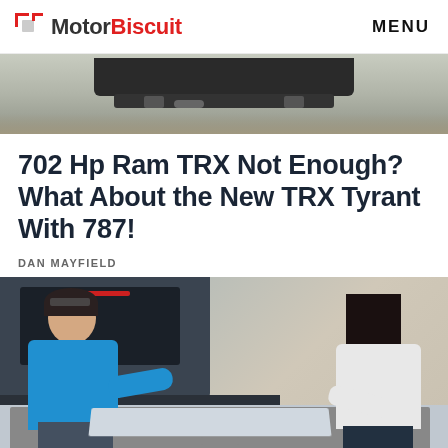MotorBiscuit   MENU
[Figure (photo): Bottom undercarriage and rear of a dark truck photographed from below against a gray sky/landscape background]
702 Hp Ram TRX Not Enough? What About the New TRX Tyrant With 787!
DAN MAYFIELD
[Figure (photo): A man in a blue shirt and a woman in a white shirt leaning over the bed of a dark pickup truck outdoors on a dirt/sandy surface]